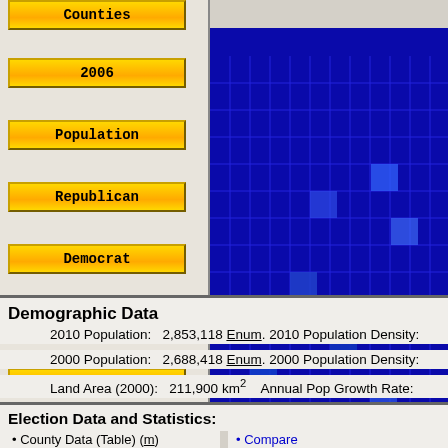Counties
2006
Population
Republican
Democrat
Swing
Trend
[Figure (map): Blue grid choropleth map showing county-level political data, predominantly dark blue squares on blue background]
Demographic Data
2010 Population:    2,853,118  Enum.  2010 Population Density:
2000 Population:    2,688,418  Enum.  2000 Population Density:
Land Area (2000):    211,900 km²    Annual Pop Growth Rate:
Election Data and Statistics:
County Data (Table) (m)
County Data (Graphs)
Voter Registration & Turnout Rate (m)
Compare
Compare
View All